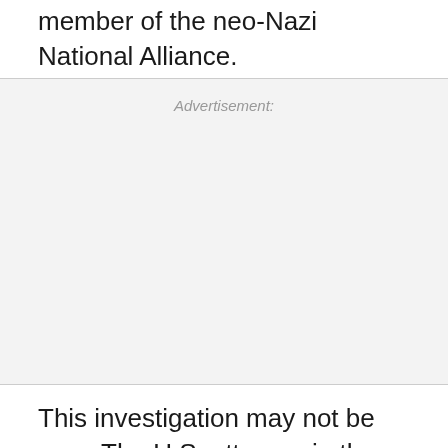member of the neo-Nazi National Alliance.
Advertisement:
This investigation may not be over. The U.S. attorney in the case has said there could be other suspects